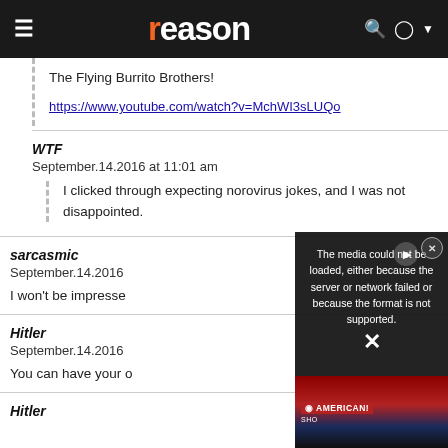reason
The Flying Burrito Brothers!
https://www.youtube.com/watch?v=MchWI3sLUQo
WTF
September.14.2016 at 11:01 am

I clicked through expecting norovirus jokes, and I was not disappointed.
sarcasmic
September.14.2016

I won't be impresse
Hitler
September.14.2016

You can have your o
Hitler
[Figure (screenshot): Video player error overlay showing 'The media could not be loaded, either because the server or network failed or because the format is not supported.' with a close button (x circle) and a play button. Below is a partially visible protest photo with red banners saying AMERICAN and other protest signs.]